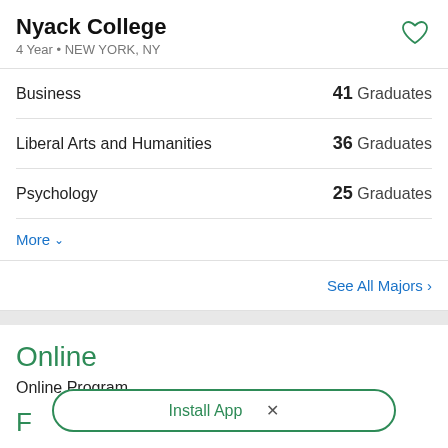Nyack College
4 Year • NEW YORK, NY
Business  41 Graduates
Liberal Arts and Humanities  36 Graduates
Psychology  25 Graduates
More
See All Majors >
Online
Online Program
Install App  ×